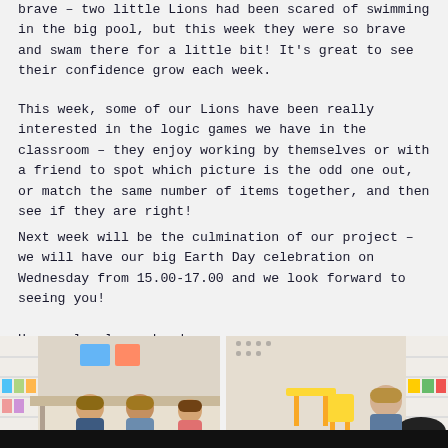brave – two little Lions had been scared of swimming in the big pool, but this week they were so brave and swam there for a little bit! It's great to see their confidence grow each week.
This week, some of our Lions have been really interested in the logic games we have in the classroom – they enjoy working by themselves or with a friend to spot which picture is the odd one out, or match the same number of items together, and then see if they are right!
Next week will be the culmination of our project – we will have our big Earth Day celebration on Wednesday from 15.00-17.00 and we look forward to seeing you!
Have a lovely weekend,
Your Lions teachers
[Figure (photo): Children sitting at a classroom table with colorful storage shelves in the background]
[Figure (photo): Child at a classroom table with yellow chairs and colorful storage shelves in the background]